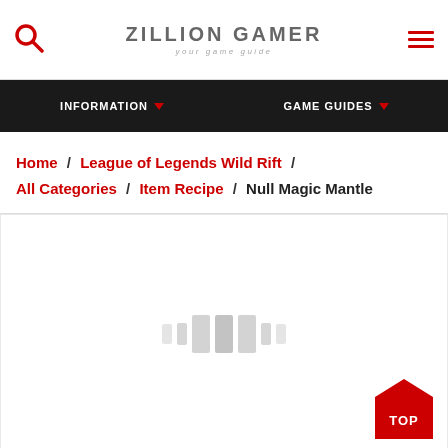ZILLION GAMER — your game guide
INFORMATION ▼   GAME GUIDES ▼
Home / League of Legends Wild Rift / All Categories / Item Recipe / Null Magic Mantle
[Figure (screenshot): Loading spinner with grey bars on white/light grey background, with a red TOP button in the bottom right corner]